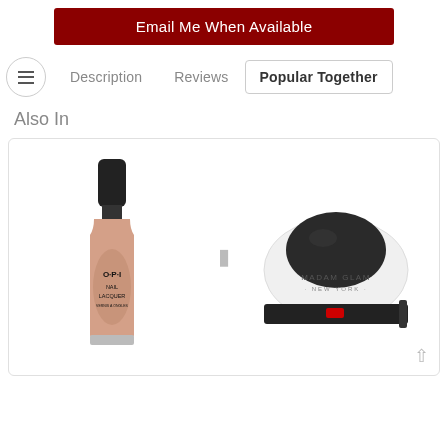Email Me When Available
Description | Reviews | Popular Together | Also In
Also In
[Figure (photo): OPI Nail Lacquer bottle in a nude/tan color with black cap, and a Madam Glam New York nail device (white dome-shaped UV lamp with red power button)]